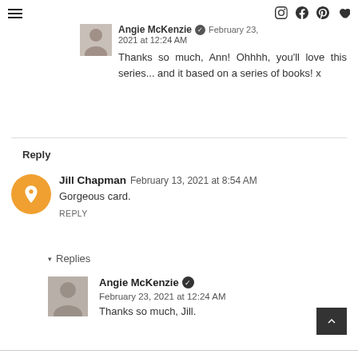Navigation and social icons header
Angie McKenzie ✓ February 23, 2021 at 12:24 AM
Thanks so much, Ann! Ohhhh, you'll love this series... and it based on a series of books! x
Reply
Jill Chapman February 13, 2021 at 8:54 AM
Gorgeous card.
REPLY
▾ Replies
Angie McKenzie ✓ February 23, 2021 at 12:24 AM
Thanks so much, Jill.